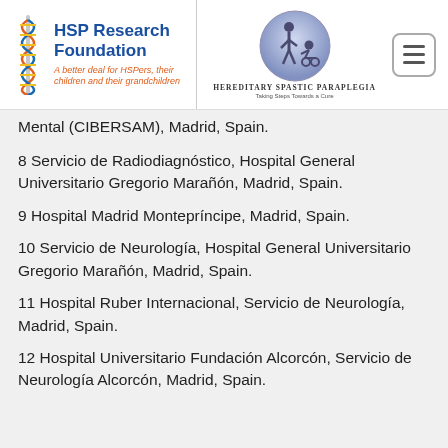HSP Research Foundation — A better deal for HSPers, their children and their grandchildren | Hereditary Spastic Paraplegia — Taking Steps Towards a Cure
Mental (CIBERSAM), Madrid, Spain.
8 Servicio de Radiodiagnóstico, Hospital General Universitario Gregorio Marañón, Madrid, Spain.
9 Hospital Madrid Montepríncipe, Madrid, Spain.
10 Servicio de Neurología, Hospital General Universitario Gregorio Marañón, Madrid, Spain.
11 Hospital Ruber Internacional, Servicio de Neurología, Madrid, Spain.
12 Hospital Universitario Fundación Alcorcón, Servicio de Neurología Alcorcón, Madrid, Spain.